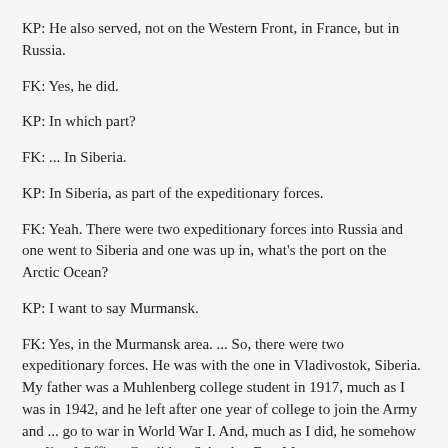KP: He also served, not on the Western Front, in France, but in Russia.
FK: Yes, he did.
KP: In which part?
FK: ... In Siberia.
KP: In Siberia, as part of the expeditionary forces.
FK: Yeah. There were two expeditionary forces into Russia and one went to Siberia and one was up in, what's the port on the Arctic Ocean?
KP: I want to say Murmansk.
FK: Yes, in the Murmansk area. ... So, there were two expeditionary forces. He was with the one in Vladivostok, Siberia. My father was a Muhlenberg college student in 1917, much as I was in 1942, and he left after one year of college to join the Army and ... go to war in World War I. And, much as I did, he somehow got [into] Officer Candidate School at Fort Myer.